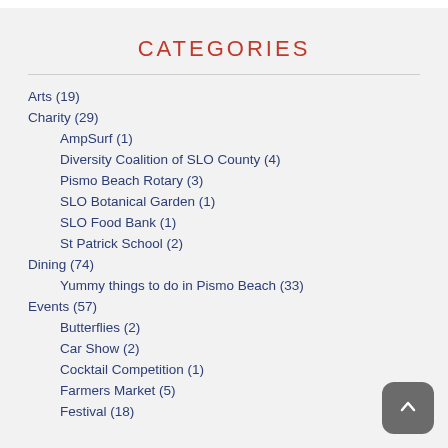CATEGORIES
Arts (19)
Charity (29)
AmpSurf (1)
Diversity Coalition of SLO County (4)
Pismo Beach Rotary (3)
SLO Botanical Garden  (1)
SLO Food Bank (1)
St Patrick School (2)
Dining (74)
Yummy things to do in Pismo Beach (33)
Events (57)
Butterflies (2)
Car Show (2)
Cocktail Competition (1)
Farmers Market (5)
Festival (18)